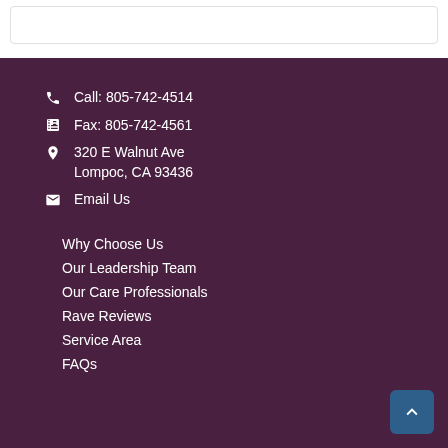Call: 805-742-4514
Fax: 805-742-4561
320 E Walnut Ave Lompoc, CA 93436
Email Us
Why Choose Us
Our Leadership Team
Our Care Professionals
Rave Reviews
Service Area
FAQs